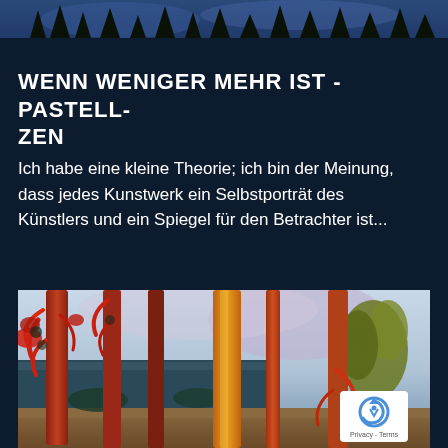[Figure (photo): Top cropped photo of a dark forest/nature scene with blue sky and conifer trees silhouetted]
WENN WENIGER MEHR IST - PASTELL-ZEN
Ich habe eine kleine Theorie; ich bin der Meinung, dass jedes Kunstwerk ein Selbstporträt des Künstlers und ein Spiegel für den Betrachter ist...
[Figure (photo): Colorful expressionist painting of trees with orange/red trunks and branches against a pale blue-purple landscape background]